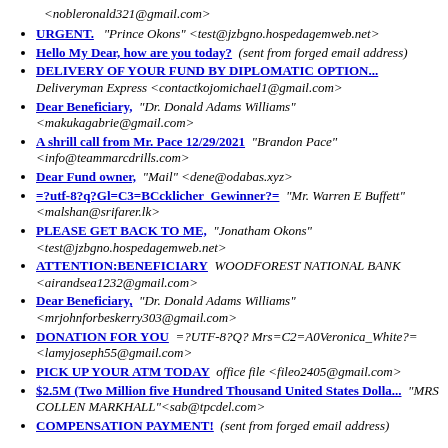<nobleronald321@gmail.com>
URGENT. "Prince Okons" <test@jzbgno.hospedagemweb.net>
Hello My Dear, how are you today? (sent from forged email address)
DELIVERY OF YOUR FUND BY DIPLOMATIC OPTION... Deliveryman Express <contactkojomichael1@gmail.com>
Dear Beneficiary, "Dr. Donald Adams Williams" <makukagabrie@gmail.com>
A shrill call from Mr. Pace 12/29/2021 "Brandon Pace" <info@teammarcdrills.com>
Dear Fund owner, "Mail" <dene@odabas.xyz>
=?utf-8?q?Gl=C3=BCcklicher_Gewinner?= "Mr. Warren E Buffett"<malshan@srifarer.lk>
PLEASE GET BACK TO ME, "Jonatham Okons" <test@jzbgno.hospedagemweb.net>
ATTENTION:BENEFICIARY WOODFOREST NATIONAL BANK <airandsea1232@gmail.com>
Dear Beneficiary, "Dr. Donald Adams Williams" <mrjohnforbeskerry303@gmail.com>
DONATION FOR YOU =?UTF-8?Q? Mrs=C2=A0Veronica_White?= <lamyjoseph55@gmail.com>
PICK UP YOUR ATM TODAY office file <fileo2405@gmail.com>
$2.5M (Two Million five Hundred Thousand United States Dolla... "MRS COLLEN MARKHALL"<sab@tpcdel.com>
COMPENSATION PAYMENT! (sent from forged email address)